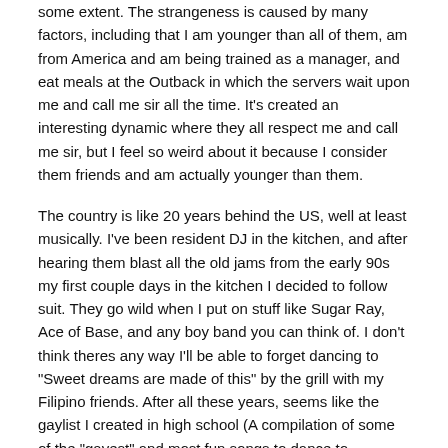some extent. The strangeness is caused by many factors, including that I am younger than all of them, am from America and am being trained as a manager, and eat meals at the Outback in which the servers wait upon me and call me sir all the time. It's created an interesting dynamic where they all respect me and call me sir, but I feel so weird about it because I consider them friends and am actually younger than them.
The country is like 20 years behind the US, well at least musically. I've been resident DJ in the kitchen, and after hearing them blast all the old jams from the early 90s my first couple days in the kitchen I decided to follow suit. They go wild when I put on stuff like Sugar Ray, Ace of Base, and any boy band you can think of. I don't think theres any way I'll be able to forget dancing to "Sweet dreams are made of this" by the grill with my Filipino friends. After all these years, seems like the gaylist I created in high school (A compilation of some of the "gayest" and most fun songs to dance to fromyesteryear) is finally paying off haha.
Call me opinionated if you'd like, but I think the Filipino food that i